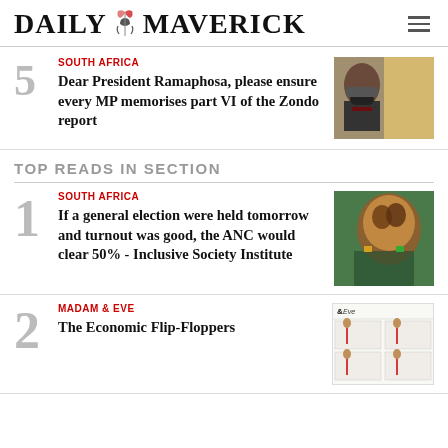DAILY MAVERICK
5 SOUTH AFRICA — Dear President Ramaphosa, please ensure every MP memorises part VI of the Zondo report
TOP READS IN SECTION
1 SOUTH AFRICA — If a general election were held tomorrow and turnout was good, the ANC would clear 50% - Inclusive Society Institute
2 MADAM & EVE — The Economic Flip-Floppers